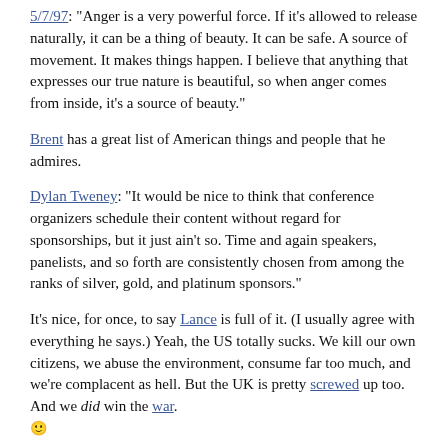5/7/97: "Anger is a very powerful force. If it's allowed to release naturally, it can be a thing of beauty. It can be safe. A source of movement. It makes things happen. I believe that anything that expresses our true nature is beautiful, so when anger comes from inside, it's a source of beauty."
Brent has a great list of American things and people that he admires.
Dylan Tweney: "It would be nice to think that conference organizers schedule their content without regard for sponsorships, but it just ain't so. Time and again speakers, panelists, and so forth are consistently chosen from among the ranks of silver, gold, and platinum sponsors."
It's nice, for once, to say Lance is full of it. (I usually agree with everything he says.) Yeah, the US totally sucks. We kill our own citizens, we abuse the environment, consume far too much, and we're complacent as hell. But the UK is pretty screwed up too. And we did win the war. :)
I owe this observation to Lucas Gonze. Some days it seems everything on the Net can be reduced down to this